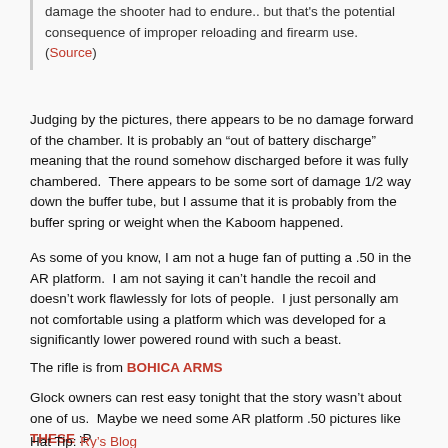damage the shooter had to endure.. but that's the potential consequence of improper reloading and firearm use. (Source)
Judging by the pictures, there appears to be no damage forward of the chamber. It is probably an “out of battery discharge” meaning that the round somehow discharged before it was fully chambered.  There appears to be some sort of damage 1/2 way down the buffer tube, but I assume that it is probably from the buffer spring or weight when the Kaboom happened.
As some of you know, I am not a huge fan of putting a .50 in the AR platform.  I am not saying it can’t handle the recoil and doesn’t work flawlessly for lots of people.  I just personally am not comfortable using a platform which was developed for a significantly lower powered round with such a beast.
The rifle is from BOHICA ARMS
Glock owners can rest easy tonight that the story wasn’t about one of us.  Maybe we need some AR platform .50 pictures like THESE :P
Hat Tip: Ry’s Blog